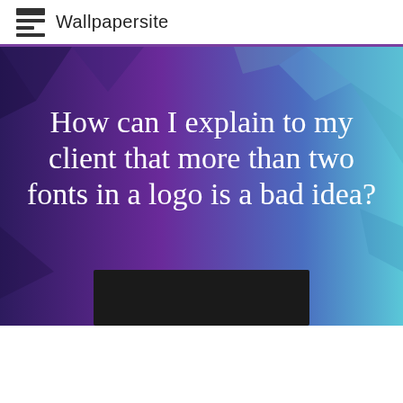Wallpapersite
[Figure (illustration): Hero banner with purple-to-teal gradient background featuring geometric polygon facets. Contains large white serif text reading 'How can I explain to my client that more than two fonts in a logo is a bad idea?' and a dark/black rectangular bar at the bottom center.]